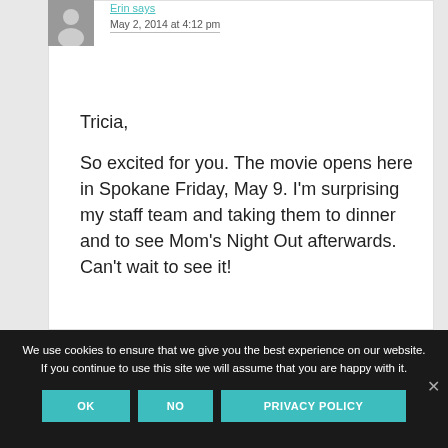Erin says
May 2, 2014 at 4:12 pm
Tricia,
So excited for you. The movie opens here in Spokane Friday, May 9. I'm surprising my staff team and taking them to dinner and to see Mom's Night Out afterwards. Can't wait to see it!
We use cookies to ensure that we give you the best experience on our website. If you continue to use this site we will assume that you are happy with it.
OK
NO
PRIVACY POLICY